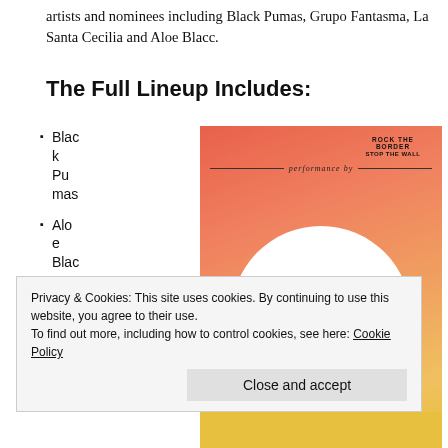artists and nominees including Black Pumas, Grupo Fantasma, La Santa Cecilia and Aloe Blacc.
The Full Lineup Includes:
Black Pumas
Aloe Blacc &
[Figure (photo): Promotional poster with orange/red gradient background. Text reads 'performance by' with a line, and 'ROCK THE BORDER STOP THE WALL' in circular text. Large bold text 'Black Pumas' over a white circle, with silhouetted heads at bottom.]
Privacy & Cookies: This site uses cookies. By continuing to use this website, you agree to their use.
To find out more, including how to control cookies, see here: Cookie Policy
Close and accept